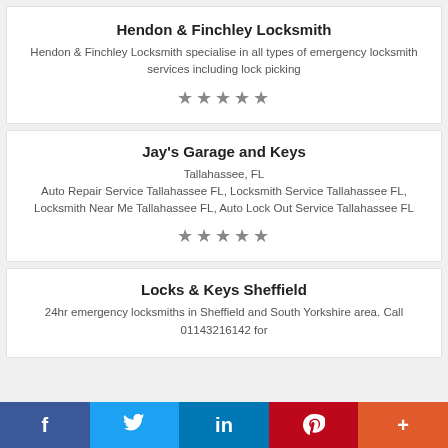Hendon & Finchley Locksmith
Hendon & Finchley Locksmith specialise in all types of emergency locksmith services including lock picking
Jay's Garage and Keys
Tallahassee, FL
Auto Repair Service Tallahassee FL, Locksmith Service Tallahassee FL, Locksmith Near Me Tallahassee FL, Auto Lock Out Service Tallahassee FL
Locks & Keys Sheffield
24hr emergency locksmiths in Sheffield and South Yorkshire area. Call 01143216142 for
f  Twitter  in  P  +